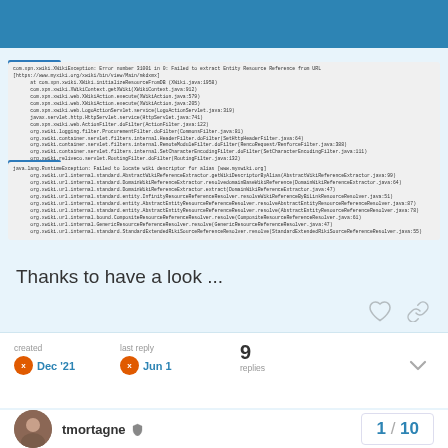ROOT CAUSE
com.xpn.xwiki.XWikiException: Error number 31001 in 0: Failed to extract Entity Resource Reference from URL [https://www.myxiki.org/xwiki/bin/view/Main/mkdxmx]
	at com.xpn.xwiki.XWiki.initializeResourceFromDB (XWiki.java:1958)
	at com.xpn.xwiki.XWikiContext.getXWiki(XWikiContext.java:912)
	at com.xpn.xwiki.web.XWikiAction.execute(XWikiAction.java:579)
	at com.xpn.xwiki.web.XWikiAction.execute(XWikiAction.java:205)
	at com.xpn.xwiki.web.LogoActionServlet.service(LogoActionServlet.java:319)
	at javax.servlet.http.HttpServlet.service(HttpServlet.java:741)
	at com.xpn.xwiki.web.ActionFilter.doFilter(ActionFilter.java:122)
	at org.xwiki.logging.filter.ProcurementFilter.doFilter(CommonsFilter.java:81)
	at org.xwiki.container.servlet.filters.internal.HeaderFilter.doFilter(SetHttpHeaderFilter.java:64)
	at org.xwiki.container.servlet.filters.internal.RemoteModuleFilter.doFilter(RencoRequest/RenforceFilter.java:388)
	at org.xwiki.container.servlet.filters.internal.SetCharacterEncodingFilter.doFilter(SetCharacterEncodingFilter.java:111)
	at org.xwiki.reliveco.servlet.RoutingFilter.doFilter(RoutingFilter.java:132)
ROOT CAUSE
java.lang.RuntimeException: Failed to locate wiki descriptor for alias [www.myxwiki.org]
	at org.xwiki.url.internal.standard.AbstractWikiReferenceExtractor.getWikiDescriptorByAlias(AbstractWikiReferenceExtractor.java:99)
	at org.xwiki.url.internal.standard.DomainWikiReferenceExtractor.resolvedomainBaseWikiReference(DomainWikiReferenceExtractor.java:64)
	at org.xwiki.url.internal.standard.DomainWikiReferenceExtractor.extract(DomainWikiReferenceExtractor.java:47)
	at org.xwiki.url.internal.standard.entity.InfinityResourceReferenceResolver.resolveWikiReferenceByBiLinkResourceResolver.java:51)
	at org.xwiki.url.internal.standard.entity.AbstractEntityResourceReferenceResolver.resolveAbstractEntityResourceReferenceResolver.java:87)
	at org.xwiki.url.internal.standard.entity.AbstractEntityResourceReferenceResolver.resolve(AbstractEntityResourceReferenceResolver.java:78)
	at org.xwiki.url.internal.bound.CompositeResourceReferenceResolver.resolve(CompositeResourceReferenceResolver.java:61)
	at org.xwiki.url.internal.GenericResourceReferenceResolver.resolve(GenericResourceReferenceResolver.java:47)
	at org.xwiki.url.internal.standard.StandardExtendedRikiSourceReferenceResolver.resolve(StandardExtendedRikiSourceReferenceResolver.java:55)
Thanks to have a look ...
created
Dec '21
last reply
Jun 1
9
replies
tmortagne